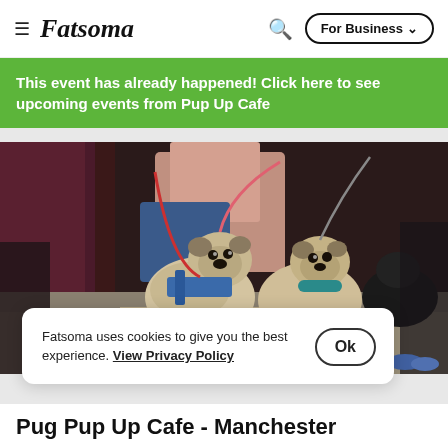Fatsoma | For Business
This event has already happened! Click here to see upcoming events from Pup Up Cafe
[Figure (photo): Two pugs on leashes standing outside, one wearing a blue harness and pink leash, held by a person in a pink jacket. Outdoor setting on a sunny day.]
Fatsoma uses cookies to give you the best experience. View Privacy Policy
Pug Pup Up Cafe - Manchester